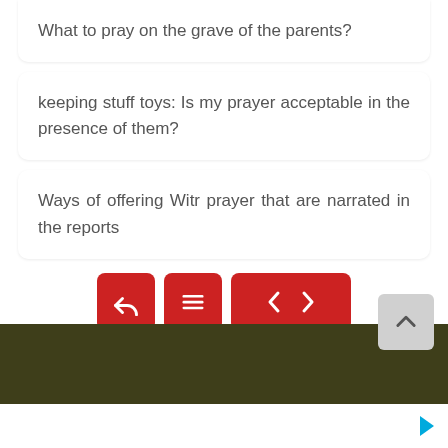What to pray on the grave of the parents?
keeping stuff toys: Is my prayer acceptable in the presence of them?
Ways of offering Witr prayer that are narrated in the reports
[Figure (other): Navigation buttons row: share/reply icon, hamburger menu icon, left arrow and right arrow navigation buttons, all in red]
[Figure (other): Back to top button (upward chevron on grey background) at bottom right, dark olive green banner bar, and white footer bar with blue play/ad icon]